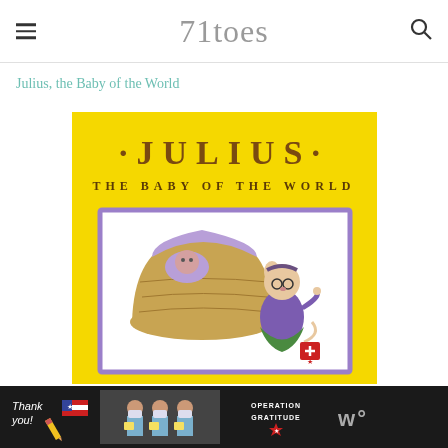71toes
Julius, the Baby of the World
[Figure (illustration): Book cover of 'Julius, the Baby of the World' — yellow background with large serif title text '·JULIUS·' and subtitle 'THE BABY OF THE WORLD', with an illustration of cartoon mouse characters, one looking into a bassinet]
[Figure (photo): Advertisement banner showing 'Thank you!' text with a pencil, a photo of healthcare workers in masks holding cards/notes, and 'OPERATION GRATITUDE' logo with star, on dark background]